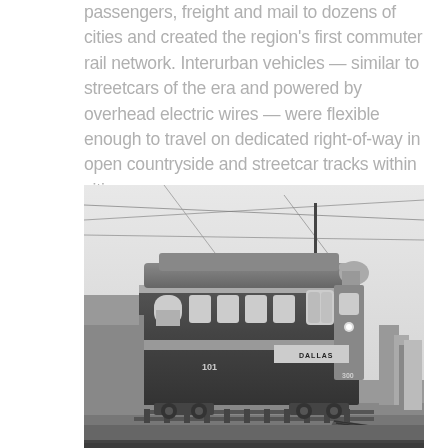passengers, freight and mail to dozens of cities and created the region's first commuter rail network. Interurban vehicles — similar to streetcars of the era and powered by overhead electric wires — were flexible enough to travel on dedicated right-of-way in open countryside and streetcar tracks within cities.
[Figure (photo): Black and white historical photograph of an interurban rail car labeled 'DALLAS' with the number 101, shown on tracks with overhead electric wires visible above. The vehicle resembles a large streetcar/railway coach with arched windows along its side.]